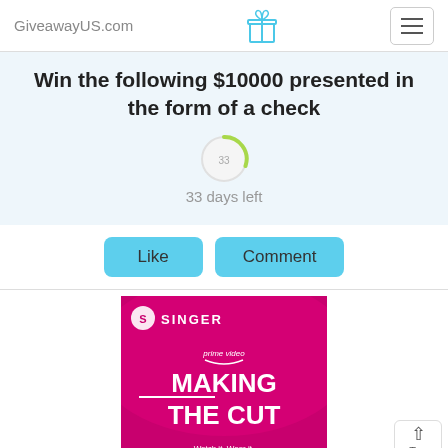GiveawayUS.com
Win the following $10000 presented in the form of a check
33 days left
Like   Comment
[Figure (photo): Singer brand advertisement for Amazon Prime Video show 'Making the Cut' — hot pink/magenta background with Singer logo at top, 'prime video' text and Amazon smile logo, large text 'MAKING THE CUT', and 'Watch it. Wear it.' at bottom.]